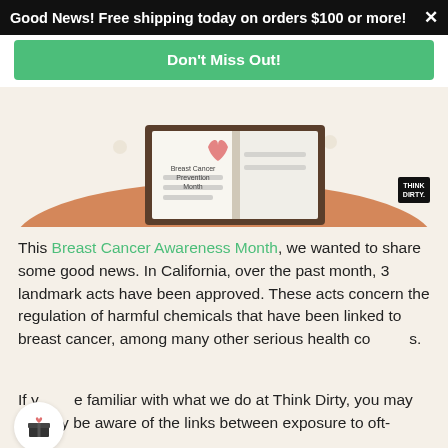Good News! Free shipping today on orders $100 or more! X
Don't Miss Out!
[Figure (illustration): Open book showing 'Breast Cancer Prevention Month' text with a pink ribbon, and a Think Dirty logo in bottom right corner, on a warm beige background with a peach/brown curved surface.]
This Breast Cancer Awareness Month, we wanted to share some good news. In California, over the past month, 3 landmark acts have been approved. These acts concern the regulation of harmful chemicals that have been linked to breast cancer, among many other serious health concerns.
If you are familiar with what we do at Think Dirty, you may already be aware of the links between exposure to oft-